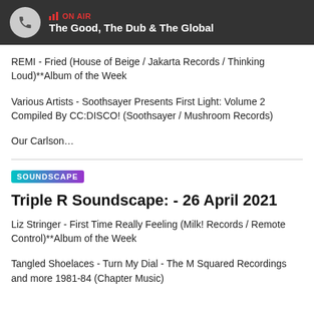ON AIR — The Good, The Dub & The Global
REMI - Fried (House of Beige / Jakarta Records / Thinking Loud)**Album of the Week
Various Artists - Soothsayer Presents First Light: Volume 2 Compiled By CC:DISCO! (Soothsayer / Mushroom Records)
Our Carlson…
SOUNDSCAPE
Triple R Soundscape: - 26 April 2021
Liz Stringer - First Time Really Feeling (Milk! Records / Remote Control)**Album of the Week
Tangled Shoelaces - Turn My Dial - The M Squared Recordings and more 1981-84 (Chapter Music)